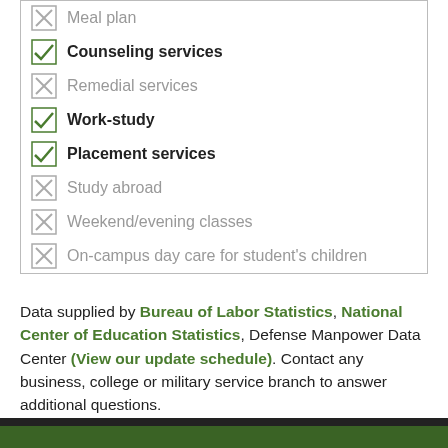Meal plan
Counseling services
Remedial services
Work-study
Placement services
Study abroad
Weekend/evening classes
On-campus day care for student's children
Data supplied by Bureau of Labor Statistics, National Center of Education Statistics, Defense Manpower Data Center (View our update schedule). Contact any business, college or military service branch to answer additional questions.